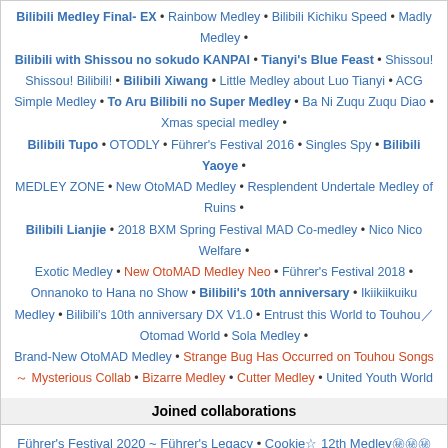Bilibili Medley Final- EX • Rainbow Medley • Bilibili Kichiku Speed • Madly Medley • Bilibili with Shissou no sokudo KANPAI • Tianyi's Blue Feast • Shissou! Shissou! Bilibili! • Bilibili Xiwang • Little Medley about Luo Tianyi • ACG Simple Medley • To Aru Bilibili no Super Medley • Ba Ni Zuqu Zuqu Diao • Xmas special medley • Bilibili Tupo • OTODLY • Führer's Festival 2016 • Singles Spy • Bilibili Yaoye • MEDLEY ZONE • New OtoMAD Medley • Resplendent Undertale Medley of Ruins • Bilibili Lianjie • 2018 BXM Spring Festival MAD Co-medley • Nico Nico Welfare • Exotic Medley • New OtoMAD Medley Neo • Führer's Festival 2018 • Onnanoko to Hana no Show • Bilibili's 10th anniversary • Ikiikiikuiku Medley • Bilibili's 10th anniversary DX V1.0 • Entrust this World to Touhou／Otomad World • Sola Medley • Brand-New OtoMAD Medley • Strange Bug Has Occurred on Touhou Songs ～ Mysterious Collab • Bizarre Medley • Cutter Medley • United Youth World
Joined collaborations
Führer's Festival 2020 ~ Führer's Legacy • Cookie☆ 12th Medley㊙㊙㊙㊙㊙㊙
Search for Medleys...
16/SNOW • 26K • 8:51:22 pm • AcFun Spring Festival Gala • Alphakyun • ☆Aryu☆ • Asaoka Hieton • Ashibuto Penta • ①(Asterisk) • Ayase Midori • BugMino • Churuchin • Collabs • Daniwell • Database Forum Members • Ebiflider • Ebitenmu • Emukuro • Ettoo • Filly • FinnOtaku • FLAG • Frog96 (Furokuro) • FullKen • Ginga-P • HAC • HAJIME • hapi • Heppoko Roku Gen Dukai • Himanattsu • I'm so Happy Bean Association • I.F. • Ikatako • Jwa • jan Misali • Janan